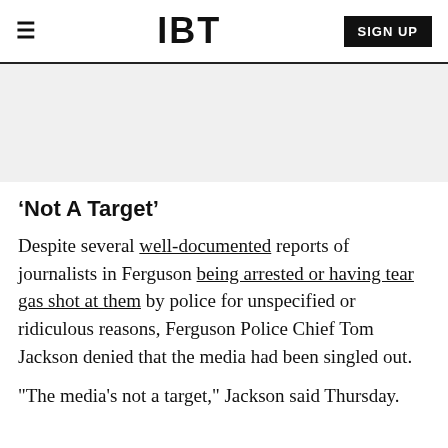IBT  SIGN UP
[Figure (other): Gray advertisement/banner placeholder area]
‘Not A Target’
Despite several well-documented reports of journalists in Ferguson being arrested or having tear gas shot at them by police for unspecified or ridiculous reasons, Ferguson Police Chief Tom Jackson denied that the media had been singled out.
"The media's not a target," Jackson said Thursday.